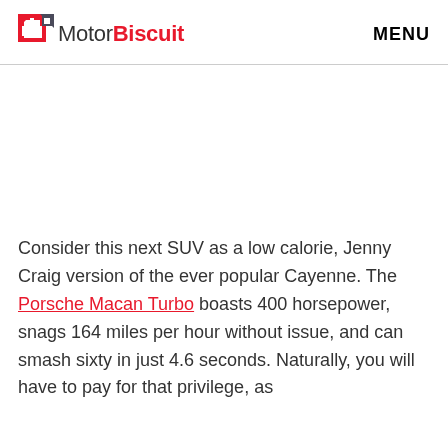MotorBiscuit  MENU
Consider this next SUV as a low calorie, Jenny Craig version of the ever popular Cayenne. The Porsche Macan Turbo boasts 400 horsepower, snags 164 miles per hour without issue, and can smash sixty in just 4.6 seconds. Naturally, you will have to pay for that privilege, as